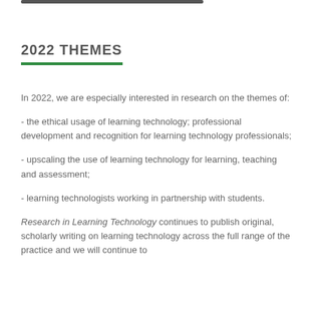2022 THEMES
In 2022, we are especially interested in research on the themes of:
- the ethical usage of learning technology; professional development and recognition for learning technology professionals;
- upscaling the use of learning technology for learning, teaching and assessment;
- learning technologists working in partnership with students.
Research in Learning Technology continues to publish original, scholarly writing on learning technology across the full range of the practice and we will continue to